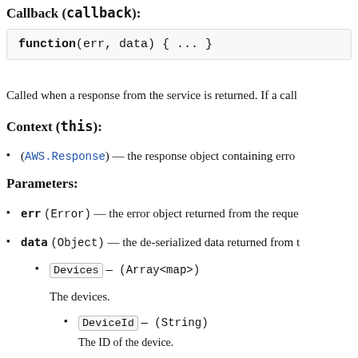Callback (callback):
function(err, data) { ... }
Called when a response from the service is returned. If a call
Context (this):
(AWS.Response) — the response object containing erro
Parameters:
err (Error) — the error object returned from the reque
data (Object) — the de-serialized data returned from t
Devices — (Array<map>)
The devices.
DeviceId — (String)
The ID of the device.
DeviceArn — (String)